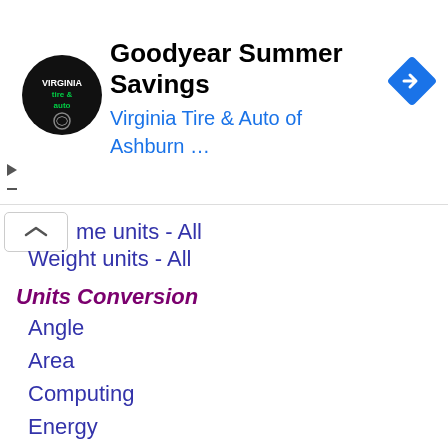[Figure (screenshot): Advertisement banner for Goodyear Summer Savings by Virginia Tire & Auto of Ashburn, with logo and navigation icon]
me units - All
Weight units - All
Units Conversion
Angle
Area
Computing
Energy
Flow rate
Fractions versus Decimal numbers
Length